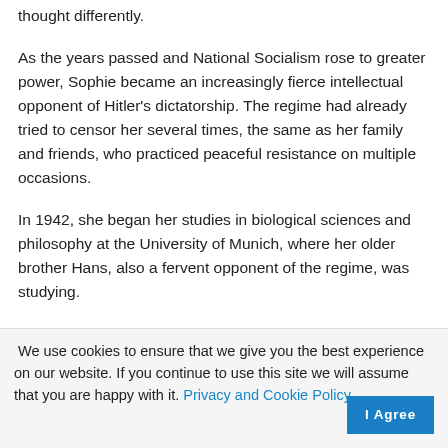thought differently.
As the years passed and National Socialism rose to greater power, Sophie became an increasingly fierce intellectual opponent of Hitler’s dictatorship. The regime had already tried to censor her several times, the same as her family and friends, who practiced peaceful resistance on multiple occasions.
In 1942, she began her studies in biological sciences and philosophy at the University of Munich, where her older brother Hans, also a fervent opponent of the regime, was studying.
Thanks to these two young people and the power of
We use cookies to ensure that we give you the best experience on our website. If you continue to use this site we will assume that you are happy with it. Privacy and Cookie Policy.